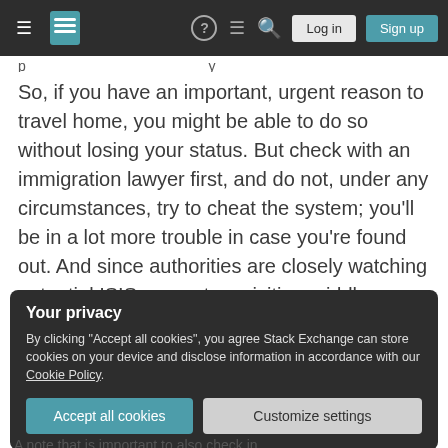Stack Exchange navigation bar with hamburger menu, logo, help, chat, search icons, Log in and Sign up buttons
So, if you have an important, urgent reason to travel home, you might be able to do so without losing your status. But check with an immigration lawyer first, and do not, under any circumstances, try to cheat the system; you'll be in a lot more trouble in case you're found out. And since authorities are closely watching potential ISIS supporters visiting middle eastern countries, it's almost impossible not to be found out.
Your privacy
By clicking "Accept all cookies", you agree Stack Exchange can store cookies on your device and disclose information in accordance with our Cookie Policy.
Accept all cookies   Customize settings